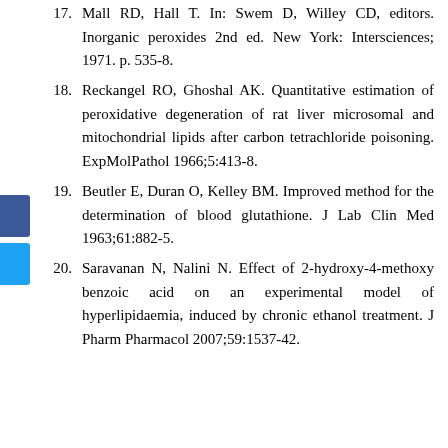17. Mall RD, Hall T. In: Swem D, Willey CD, editors. Inorganic peroxides 2nd ed. New York: Intersciences; 1971. p. 535-8.
18. Reckangel RO, Ghoshal AK. Quantitative estimation of peroxidative degeneration of rat liver microsomal and mitochondrial lipids after carbon tetrachloride poisoning. ExpMolPathol 1966;5:413-8.
19. Beutler E, Duran O, Kelley BM. Improved method for the determination of blood glutathione. J Lab Clin Med 1963;61:882-5.
20. Saravanan N, Nalini N. Effect of 2-hydroxy-4-methoxy benzoic acid on an experimental model of hyperlipidaemia, induced by chronic ethanol treatment. J Pharm Pharmacol 2007;59:1537-42.